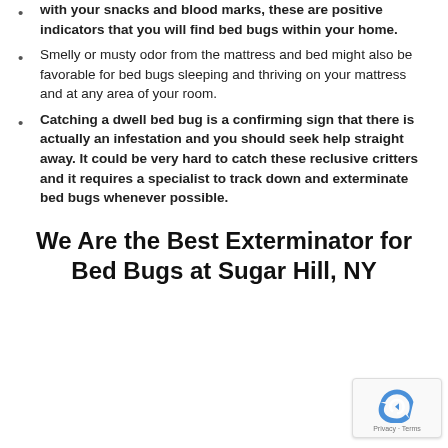with your snacks and blood marks, these are positive indicators that you will find bed bugs within your home.
Smelly or musty odor from the mattress and bed might also be favorable for bed bugs sleeping and thriving on your mattress and at any area of your room.
Catching a dwell bed bug is a confirming sign that there is actually an infestation and you should seek help straight away. It could be very hard to catch these reclusive critters and it requires a specialist to track down and exterminate bed bugs whenever possible.
We Are the Best Exterminator for Bed Bugs at Sugar Hill, NY